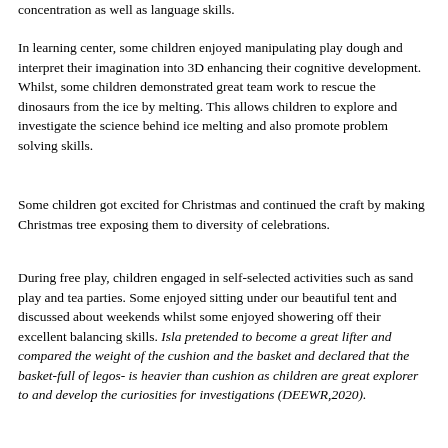concentration as well as language skills.
In learning center, some children enjoyed manipulating play dough and interpret their imagination into 3D enhancing their cognitive development. Whilst, some children demonstrated great team work to rescue the dinosaurs from the ice by melting. This allows children to explore and investigate the science behind ice melting and also promote problem solving skills.
Some children got excited for Christmas and continued the craft by making Christmas tree exposing them to diversity of celebrations.
During free play, children engaged in self-selected activities such as sand play and tea parties. Some enjoyed sitting under our beautiful tent and discussed about weekends whilst some enjoyed showering off their excellent balancing skills. Isla pretended to become a great lifter and compared the weight of the cushion and the basket and declared that the basket-full of legos- is heavier than cushion as children are great explorer to and develop the curiosities for investigations (DEEWR,2020).